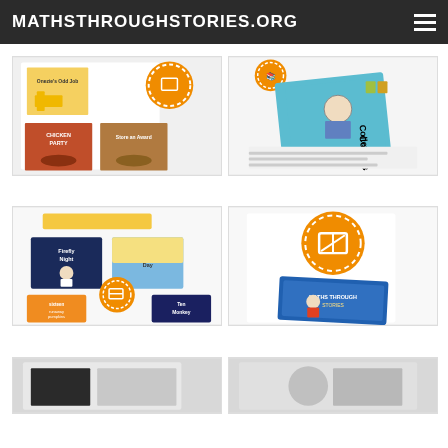MATHSTHROUGHSTORIES.ORG
[Figure (photo): Collage of children's math story books including Onezie's Odd Job, Chicken Party, and Store an Award]
[Figure (photo): Book titled Collette Collects with teal/blue cover and a character illustration, shown with stamps and papers]
[Figure (photo): Collage including Firefly Night and Day books with orange Maths Through Stories badge and Ten Monkeys book]
[Figure (photo): Maths Through Stories orange logo badge with a children's book below it]
[Figure (photo): Partially visible image at bottom left]
[Figure (photo): Partially visible image at bottom right]